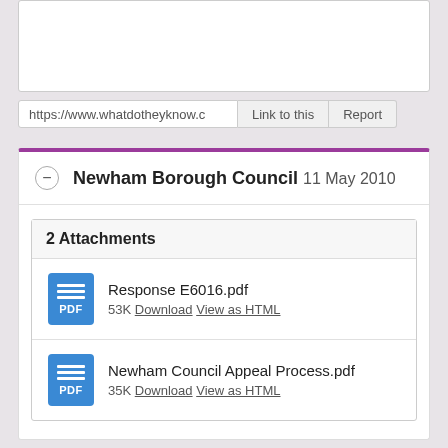[Figure (screenshot): Top white card area (partially visible, cut off at top)]
https://www.whatdotheyknow.c   Link to this   Report
Newham Borough Council  11 May 2010
2 Attachments
Response E6016.pdf
53K Download View as HTML
Newham Council Appeal Process.pdf
35K Download View as HTML